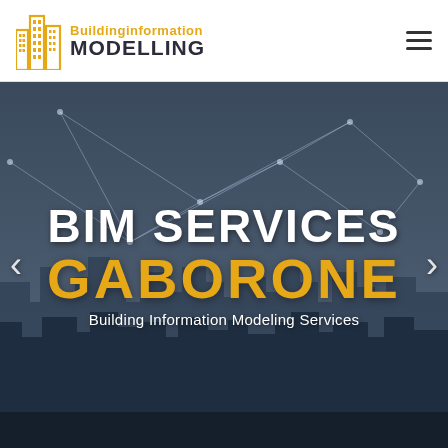[Figure (logo): Building Information Modelling logo with golden building icon and text]
[Figure (screenshot): Hero banner with dark city skyline background overlaid with network connection lines. Text overlay reads BIM SERVICES in large white bold font, GABORONE in large gold/yellow bold font, and subtitle Building Information Modeling Services in white. Navigation arrows on left and right sides.]